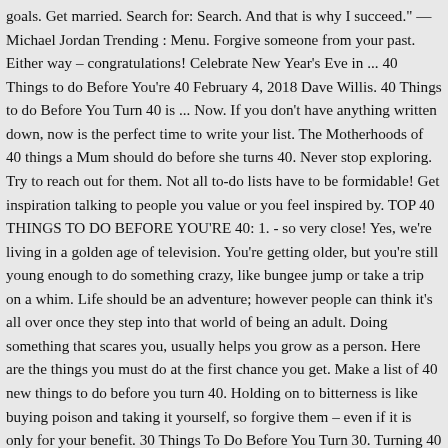goals. Get married. Search for: Search. And that is why I succeed." — Michael Jordan Trending : Menu. Forgive someone from your past. Either way – congratulations! Celebrate New Year's Eve in ... 40 Things to do Before You're 40 February 4, 2018 Dave Willis. 40 Things to do Before You Turn 40 is ... Now. If you don't have anything written down, now is the perfect time to write your list. The Motherhoods of 40 things a Mum should do before she turns 40. Never stop exploring. Try to reach out for them. Not all to-do lists have to be formidable! Get inspiration talking to people you value or you feel inspired by. TOP 40 THINGS TO DO BEFORE YOU'RE 40: 1. - so very close! Yes, we're living in a golden age of television. You're getting older, but you're still young enough to do something crazy, like bungee jump or take a trip on a whim. Life should be an adventure; however people can think it's all over once they step into that world of being an adult. Doing something that scares you, usually helps you grow as a person. Here are the things you must do at the first chance you get. Make a list of 40 new things to do before you turn 40. Holding on to bitterness is like buying poison and taking it yourself, so forgive them – even if it is only for your benefit. 30 Things To Do Before You Turn 30. Turning 40 is a major milestone. You can ask for help ... 1. Create your own bucket list of at least 100 things you want to do before you die. Page 30 items...